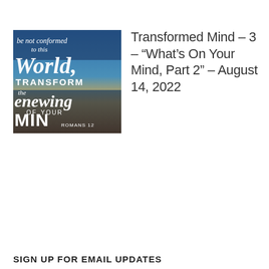[Figure (illustration): Thumbnail image with text overlay showing 'be not conformed to this World, TRANSFORM the renewing OF YOUR MIND, ROMANS 12' on a sky/sunset background]
Transformed Mind – 3 – “What’s On Your Mind, Part 2” – August 14, 2022
Browse Entire Audio Library
SIGN UP FOR EMAIL UPDATES